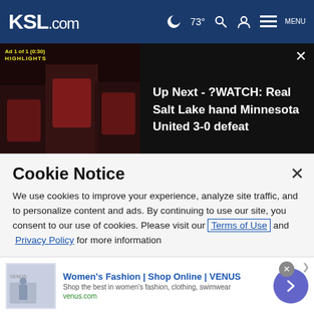KSL.com  🌙 73°  🔍  👤  MENU
[Figure (screenshot): Video player thumbnail showing soccer players in red jerseys with text overlay: Ad 1 of 1 (0:30), HIGHLIGHTS. Right side shows dark panel with text: Up Next - ?WATCH: Real Salt Lake hand Minnesota United 3-0 defeat. Close X button in top right.]
7. Coming to Amazon Prime and Disney+ in September
8. 2nd man was in vehicle shot by officers at American Fork Walmart, police confirm
Cookie Notice
We use cookies to improve your experience, analyze site traffic, and to personalize content and ads. By continuing to use our site, you consent to our use of cookies. Please visit our Terms of Use and  Privacy Policy for more information
[Figure (infographic): Ad banner for VENUS women's fashion. Shows thumbnail image, headline: Women's Fashion | Shop Online | VENUS, subtext: Shop the best in women's fashion, clothing, swimwear, domain: venus.com. Arrow button on right, close X button.]